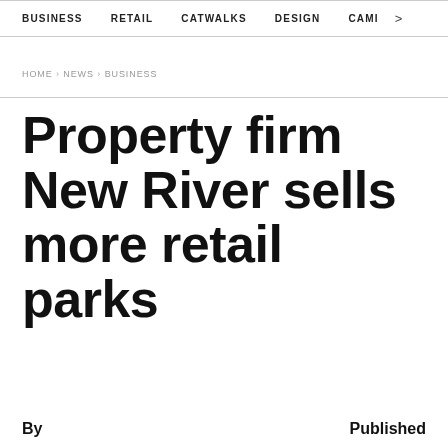BUSINESS   RETAIL   CATWALKS   DESIGN   CAMI  >
HOME › NEWS › BUSINESS
Property firm New River sells more retail parks
By    Published